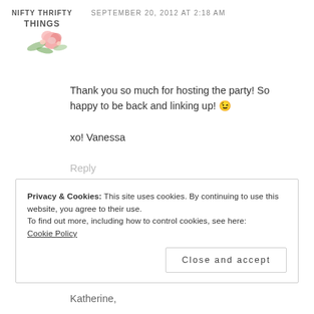[Figure (logo): Nifty Thrifty Things blog logo with floral watercolor decoration, text partially cut off at top]
SEPTEMBER 20, 2012 AT 2:18 AM
Thank you so much for hosting the party! So happy to be back and linking up! 😉
xo! Vanessa
Reply
Privacy & Cookies: This site uses cookies. By continuing to use this website, you agree to their use.
To find out more, including how to control cookies, see here:
Cookie Policy
Close and accept
Katherine,